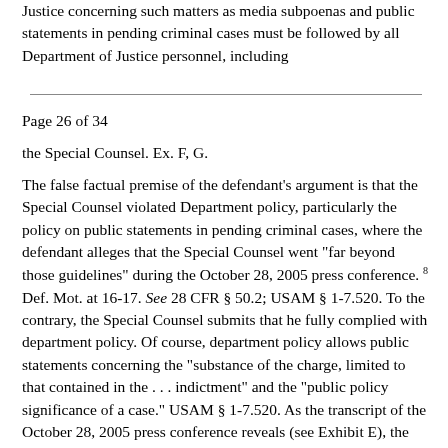Justice concerning such matters as media subpoenas and public statements in pending criminal cases must be followed by all Department of Justice personnel, including
Page 26 of 34
the Special Counsel. Ex. F, G.
The false factual premise of the defendant's argument is that the Special Counsel violated Department policy, particularly the policy on public statements in pending criminal cases, where the defendant alleges that the Special Counsel went "far beyond those guidelines" during the October 28, 2005 press conference. 8 Def. Mot. at 16-17. See 28 CFR § 50.2; USAM § 1-7.520. To the contrary, the Special Counsel submits that he fully complied with department policy. Of course, department policy allows public statements concerning the "substance of the charge, limited to that contained in the . . . indictment" and the "public policy significance of a case." USAM § 1-7.520. As the transcript of the October 28, 2005 press conference reveals (see Exhibit E), the Special Counsel repeatedly made clear that he was staying within the four corners of the indictment in describing the charges. 9 The Special Counsel also reminded the audience of the presumption of innocence on several occasions. In addition, the press conference concerned a